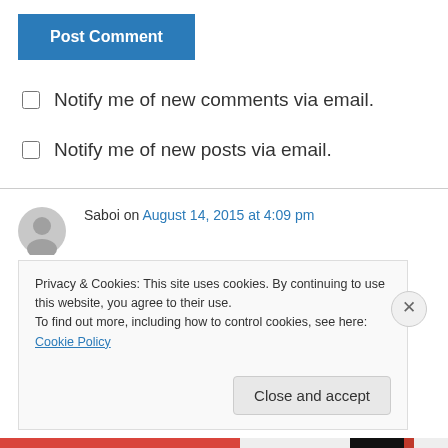Post Comment
Notify me of new comments via email.
Notify me of new posts via email.
Saboi on August 14, 2015 at 4:09 pm
Wow definitely trying this out with the load shedding going on here
Privacy & Cookies: This site uses cookies. By continuing to use this website, you agree to their use.
To find out more, including how to control cookies, see here: Cookie Policy
Close and accept